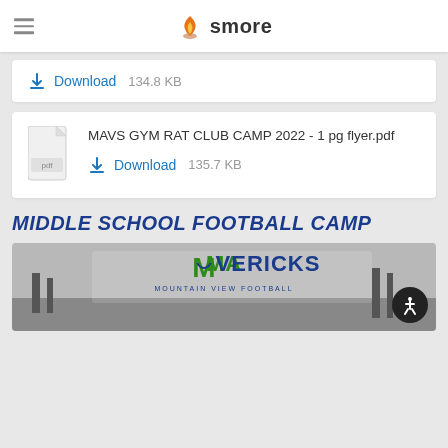smore
Download   134.8 KB
[Figure (screenshot): PDF file card showing MAVS GYM RAT CLUB CAMP 2022 - 1 pg flyer.pdf with a download link showing 135.7 KB]
MIDDLE SCHOOL FOOTBALL CAMP
[Figure (photo): Mavericks Mountain View Football banner/logo with football field in background]